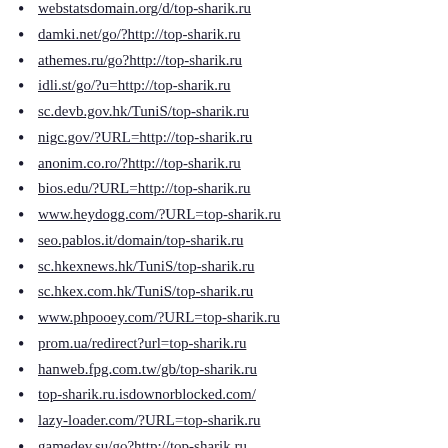webstatsdomain.org/d/top-sharik.ru
damki.net/go/?http://top-sharik.ru
athemes.ru/go?http://top-sharik.ru
idli.st/go/?u=http://top-sharik.ru
sc.devb.gov.hk/TuniS/top-sharik.ru
nigc.gov/?URL=http://top-sharik.ru
anonim.co.ro/?http://top-sharik.ru
bios.edu/?URL=http://top-sharik.ru
www.heydogg.com/?URL=top-sharik.ru
seo.pablos.it/domain/top-sharik.ru
sc.hkexnews.hk/TuniS/top-sharik.ru
sc.hkex.com.hk/TuniS/top-sharik.ru
www.phpooey.com/?URL=top-sharik.ru
prom.ua/redirect?url=top-sharik.ru
hanweb.fpg.com.tw/gb/top-sharik.ru
top-sharik.ru.isdownorblocked.com/
lazy-loader.com/?URL=top-sharik.ru
gamedev.su/go?http://top-sharik.ru
www.ujs.su/go?http://top-sharik.ru